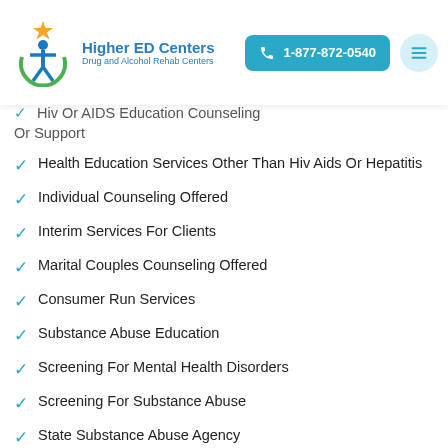Higher ED Centers — Drug and Alcohol Rehab Centers | 1-877-872-0540
HIV Or AIDS Education Counseling Or Support
Health Education Services Other Than Hiv Aids Or Hepatitis
Individual Counseling Offered
Interim Services For Clients
Marital Couples Counseling Offered
Consumer Run Services
Substance Abuse Education
Screening For Mental Health Disorders
Screening For Substance Abuse
State Substance Abuse Agency
State Department Of Health
Screening For Tobacco Use
Hepatitis education counseling Or Support